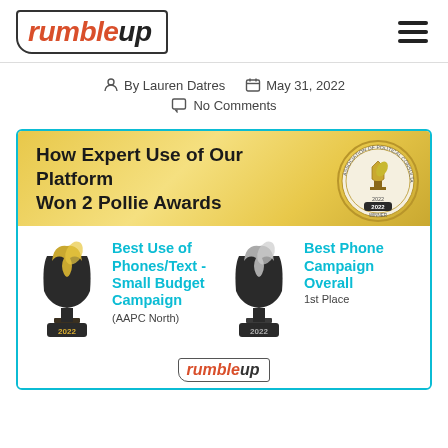[Figure (logo): RumbleUp logo in italic bold font with speech bubble border shape, red 'rumble' and dark 'up']
By Lauren Datres   May 31, 2022
No Comments
[Figure (infographic): RumbleUp award infographic showing 'How Expert Use of Our Platform Won 2 Pollie Awards' on gold banner with Pollie seal. Two awards shown: 'Best Use of Phones/Text - Small Budget Campaign (AAPC North)' and 'Best Phone Campaign Overall - 1st Place'. Both trophies labeled 2022. RumbleUp logo at bottom.]